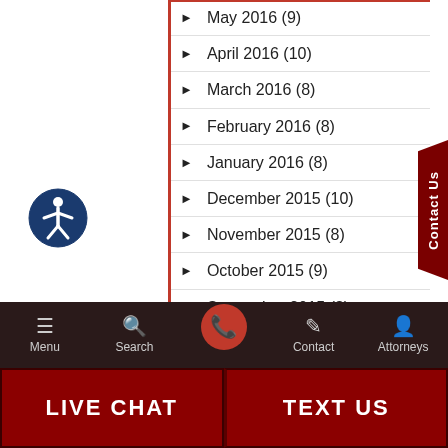May 2016 (9)
April 2016 (10)
March 2016 (8)
February 2016 (8)
January 2016 (8)
December 2015 (10)
November 2015 (8)
October 2015 (9)
September 2015 (8)
August 2015 (9)
Menu | Search | Contact | Attorneys | LIVE CHAT | TEXT US